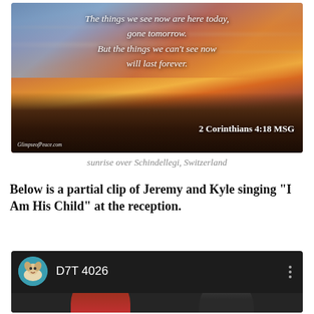[Figure (photo): Sunset/sunrise photo over a dark landscape (Schindellegi, Switzerland) with inspirational quote overlaid in white italic text and Bible verse reference '2 Corinthians 4:18 MSG' in bottom right. Watermark 'GlimpseofPeace.com' in bottom left.]
sunrise over Schindellegi, Switzerland
Below is a partial clip of Jeremy and Kyle singing “I Am His Child” at the reception.
[Figure (screenshot): YouTube/video player screenshot showing channel avatar (dog in water), channel name 'D7T 4026', three-dot menu, and partial view of two children in a dark room.]